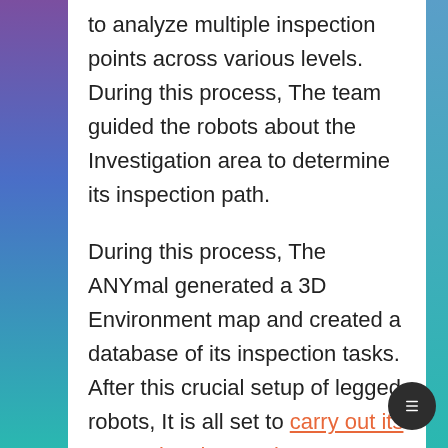to analyze multiple inspection points across various levels. During this process, The team guided the robots about the Investigation area to determine its inspection path.
During this process, The ANYmal generated a 3D Environment map and created a database of its inspection tasks. After this crucial setup of legged robots, It is all set to carry out its Inspectional operations.
ANYmal's first task takes at the area on